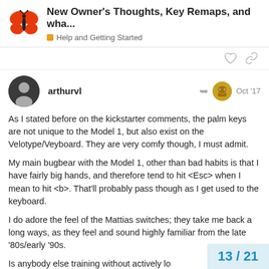New Owner's Thoughts, Key Remaps, and wha...
Help and Getting Started
arthurvl   Oct '17
As I stated before on the kickstarter comments, the palm keys are not unique to the Model 1, but also exist on the Velotype/Veyboard. They are very comfy though, I must admit.
My main bugbear with the Model 1, other than bad habits is that I have fairly big hands, and therefore tend to hit <Esc> when I mean to hit <b>. That'll probably pass though as I get used to the keyboard.
I do adore the feel of the Mattias switches; they take me back a long ways, as they feel and sound highly familiar from the late '80s/early '90s.
Is anybody else training without actively lo
13 / 21